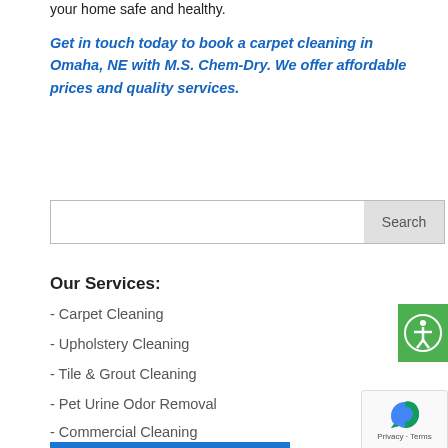your home safe and healthy.
Get in touch today to book a carpet cleaning in Omaha, NE with M.S. Chem-Dry. We offer affordable prices and quality services.
Search
Our Services:
- Carpet Cleaning
- Upholstery Cleaning
- Tile & Grout Cleaning
- Pet Urine Odor Removal
- Commercial Cleaning